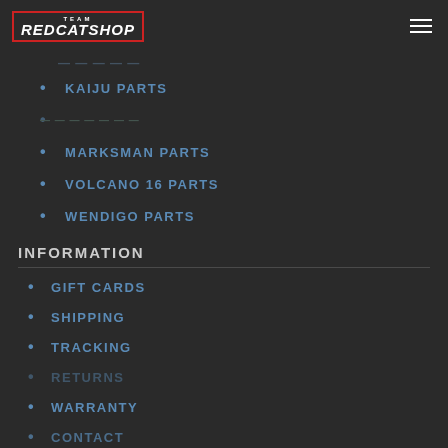Team Redcatshop
KAIJU PARTS
MARKSMAN PARTS
VOLCANO 16 PARTS
WENDIGO PARTS
INFORMATION
GIFT CARDS
SHIPPING
TRACKING
RETURNS
WARRANTY
CONTACT